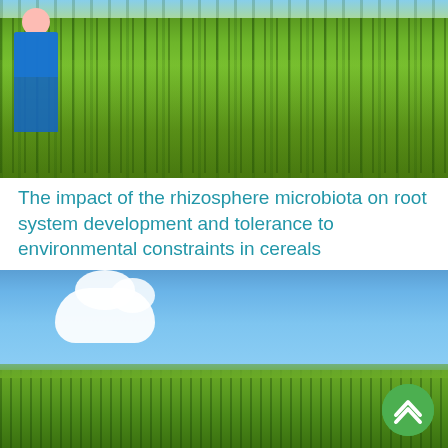[Figure (photo): A person in blue clothing standing in a lush green cereal field with tall green grain stalks. Photo taken from a low angle showing dense green crop growth.]
The impact of the rhizosphere microbiota on root system development and tolerance to environmental constraints in cereals
[Figure (photo): A wide field of green cereal crops under a bright blue sky with white clouds. A green circular back-to-top navigation button is visible in the lower right corner.]